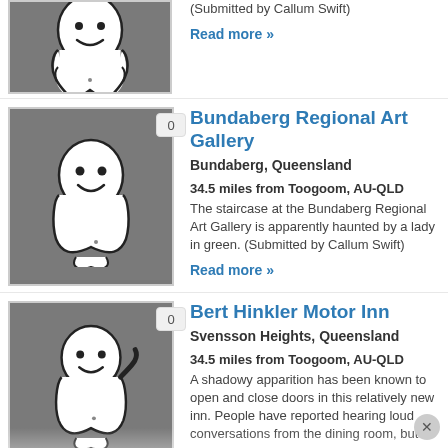(Submitted by Callum Swift)
Read more »
[Figure (illustration): Ghost cartoon icon on grey background with badge showing 0]
Bundaberg Regional Art Gallery
Bundaberg, Queensland
34.5 miles from Toogoom, AU-QLD
The staircase at the Bundaberg Regional Art Gallery is apparently haunted by a lady in green. (Submitted by Callum Swift)
Read more »
[Figure (illustration): Ghost cartoon icon on grey background with badge showing 0]
Bert Hinkler Motor Inn
Svensson Heights, Queensland
34.5 miles from Toogoom, AU-QLD
A shadowy apparition has been known to open and close doors in this relatively new inn. People have reported hearing loud conversations from the dining room, but when they investigate, there's no one there.